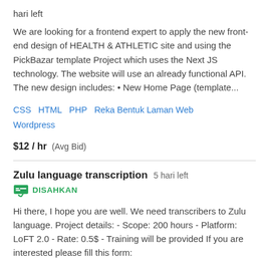hari left
We are looking for a frontend expert to apply the new front-end design of HEALTH & ATHLETIC site and using the PickBazar template Project which uses the Next JS technology. The website will use an already functional API. The new design includes: • New Home Page (template...
CSS   HTML   PHP   Reka Bentuk Laman Web   Wordpress
$12 / hr   (Avg Bid)
Zulu language transcription   5 hari left
DISAHKAN
Hi there, I hope you are well. We need transcribers to Zulu language. Project details: - Scope: 200 hours - Platform: LoFT 2.0 - Rate: 0.5$ - Training will be provided If you are interested please fill this form:
Pemasukan Data   Penyuntingan   English (US)